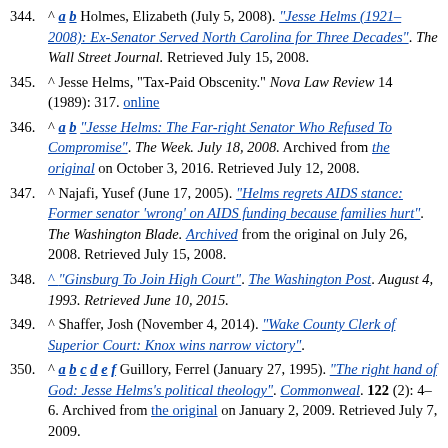344. ^ a b Holmes, Elizabeth (July 5, 2008). "Jesse Helms (1921–2008): Ex-Senator Served North Carolina for Three Decades". The Wall Street Journal. Retrieved July 15, 2008.
345. ^ Jesse Helms, "Tax-Paid Obscenity." Nova Law Review 14 (1989): 317. online
346. ^ a b "Jesse Helms: The Far-right Senator Who Refused To Compromise". The Week. July 18, 2008. Archived from the original on October 3, 2016. Retrieved July 12, 2008.
347. ^ Najafi, Yusef (June 17, 2005). "Helms regrets AIDS stance: Former senator 'wrong' on AIDS funding because families hurt". The Washington Blade. Archived from the original on July 26, 2008. Retrieved July 15, 2008.
348. ^ "Ginsburg To Join High Court". The Washington Post. August 4, 1993. Retrieved June 10, 2015.
349. ^ Shaffer, Josh (November 4, 2014). "Wake County Clerk of Superior Court: Knox wins narrow victory".
350. ^ a b c d e f Guillory, Ferrel (January 27, 1995). "The right hand of God: Jesse Helms's political theology". Commonweal. 122 (2): 4–6. Archived from the original on January 2, 2009. Retrieved July 7, 2009.
351. ^ a b c d "Jesse Helms". The Daily Telegraph. London. July 6, 2008. Archived from the original on January 12, 2022. Retrieved July 7, 2009.
352. ^ Wicker, Tom (June 22, 1982). "The Baptist Switch". The